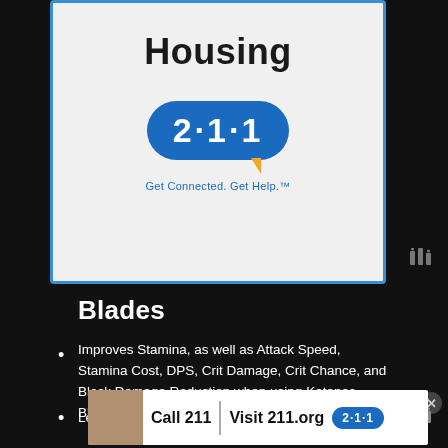Housing
[Figure (logo): 211 logo with speech bubble shape, blue background, white text '2·1·1', tagline 'Get Connected. Get Help.']
Blades
Improves Stamina, as well as Attack Speed, Stamina Cost, DPS, Crit Damage, Crit Chance, and Block Damage Reduction when using Katanas, Blades or Mantis Blades.
Level 20 unlocks Dragon Strike Perk. (Increases
[Figure (screenshot): Advertisement bar: child photo, 'Call 211 | Visit 211.org' with 211 logo, close button]